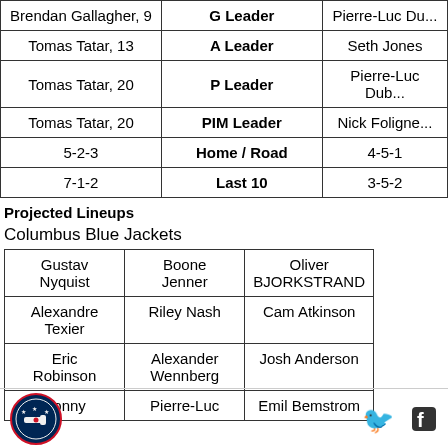| Left | Category | Right |
| --- | --- | --- |
| Brendan Gallagher, 9 | G Leader | Pierre-Luc Du... |
| Tomas Tatar, 13 | A Leader | Seth Jones |
| Tomas Tatar, 20 | P Leader | Pierre-Luc Dub... |
| Tomas Tatar, 20 | PIM Leader | Nick Foligne... |
| 5-2-3 | Home / Road | 4-5-1 |
| 7-1-2 | Last 10 | 3-5-2 |
Projected Lineups
Columbus Blue Jackets
| Col1 | Col2 | Col3 |
| --- | --- | --- |
| Gustav Nyquist | Boone Jenner | Oliver BJORKSTRAND |
| Alexandre Texier | Riley Nash | Cam Atkinson |
| Eric Robinson | Alexander Wennberg | Josh Anderson |
| Sonny | Pierre-Luc | Emil Bemstrom |
Columbus Blue Jackets logo | Twitter | Facebook